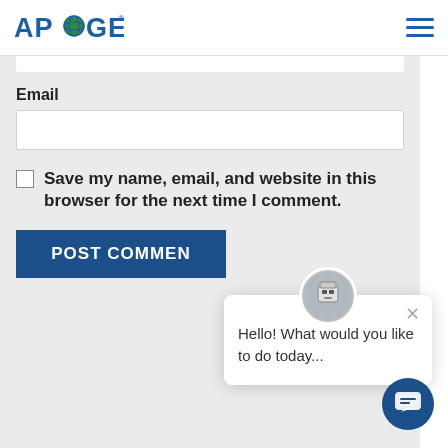[Figure (logo): APOGEE company logo with globe icon in blue]
[Figure (other): Hamburger menu icon, three horizontal blue lines]
Email
Save my name, email, and website in this browser for the next time I comment.
POST COMMENT
[Figure (screenshot): Chat popup with robot avatar, close button, and message: Hello! What would you like to do today...]
[Figure (other): Blue circular chat bubble button in bottom right corner]